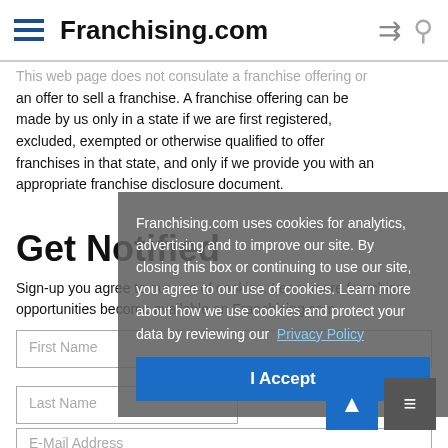Franchising.com
This web page does not consulate a franchise offering or an offer to sell a franchise. A franchise offering can be made by us only in a state if we are first registered, excluded, exempted or otherwise qualified to offer franchises in that state, and only if we provide you with an appropriate franchise disclosure document.
Get Notified
Sign-up you agree to our use of cookies. Learn more about franchise opportunities become available on Franchising.com
[Figure (screenshot): Cookie consent overlay with text: Franchising.com uses cookies for analytics, advertising and to improve our site. By closing this box or continuing to use our site, you agree to our use of cookies. Learn more about how we use cookies and protect your data by reviewing our Privacy Policy. With an I Accept button.]
First Name
Last Name
E-Mail Address